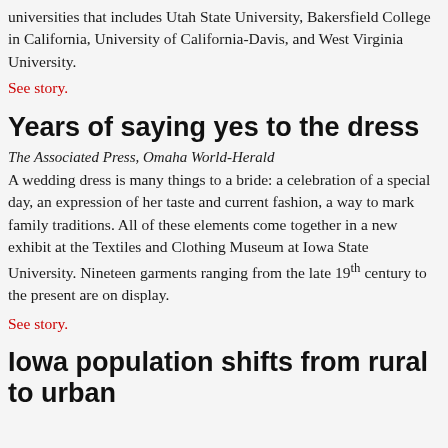universities that includes Utah State University, Bakersfield College in California, University of California-Davis, and West Virginia University.
See story.
Years of saying yes to the dress
The Associated Press, Omaha World-Herald
A wedding dress is many things to a bride: a celebration of a special day, an expression of her taste and current fashion, a way to mark family traditions. All of these elements come together in a new exhibit at the Textiles and Clothing Museum at Iowa State University. Nineteen garments ranging from the late 19th century to the present are on display.
See story.
Iowa population shifts from rural to urban